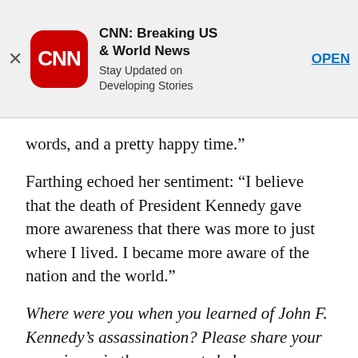[Figure (screenshot): CNN app advertisement banner with red rounded square logo showing 'CNN' in white, app name 'CNN: Breaking US & World News', subtitle 'Stay Updated on Developing Stories', and an 'OPEN' link button, with an X close button on the left]
words, and a pretty happy time.”
Farthing echoed her sentiment: “I believe that the death of President Kennedy gave more awareness that there was more to just where I lived. I became more aware of the nation and the world.”
Where were you when you learned of John F. Kennedy’s assassination? Please share your experience in the comments below.
CNN’s Daphne Sashin contributed to this report.